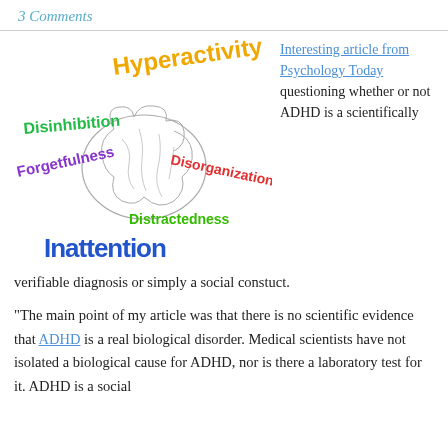3 Comments
[Figure (infographic): Word cloud around a brain illustration showing ADHD-related terms: Hyperactivity (orange/yellow), Disinhibition (green), Forgetfulness (purple), Disorganization (red), Distractedness (green), Inattention (blue), with a line-art brain in the center.]
Interesting article from Psychology Today questioning whether or not ADHD is a scientifically verifiable diagnosis or simply a social constuct.
“The main point of my article was that there is no scientific evidence that ADHD is a real biological disorder. Medical scientists have not isolated a biological cause for ADHD, nor is there a laboratory test for it. ADHD is a social